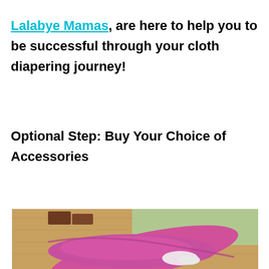Lalabye Mamas, are here to help you to be successful through your cloth diapering journey!
Optional Step: Buy Your Choice of Accessories
[Figure (photo): Close-up photo of a pink/magenta cloth diaper accessory item on a wooden surface with a light green background]